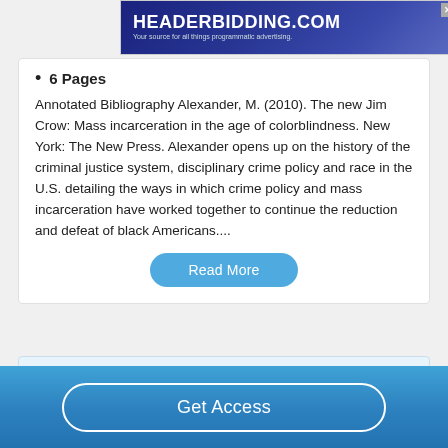[Figure (other): Advertisement banner for HeaderBidding.com — 'Your source for all things programmatic advertising.']
6 Pages
Annotated Bibliography Alexander, M. (2010). The new Jim Crow: Mass incarceration in the age of colorblindness. New York: The New Press. Alexander opens up on the history of the criminal justice system, disciplinary crime policy and race in the U.S. detailing the ways in which crime policy and mass incarceration have worked together to continue the reduction and defeat of black Americans....
Read More
Get Access